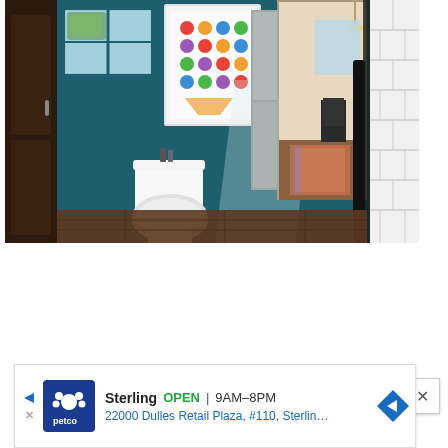[Figure (photo): Interior bathroom photo showing a white toilet against teal/dark blue walls, a small window with natural light, a colorful art print in a white frame, and an open door revealing a kitchen/dining area with a patterned rug and dark wood chairs. Right side shows white subway tile wall. Dark wood door visible on left.]
[Figure (infographic): Advertisement banner for Petco store in Sterling. Shows Petco logo (blue square with white paw print and text), store name 'Sterling', open status 'OPEN', hours '9AM-8PM', address '22000 Dulles Retail Plaza, #110, Sterling'. Navigation arrow icon on right. Play/ad indicator and X close button on left.]